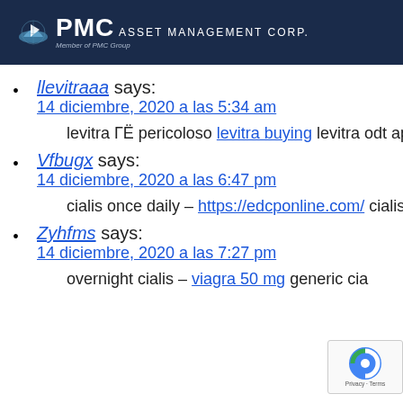[Figure (logo): PMC Asset Management Corp logo with ship icon on dark navy background header]
llevitraaa says:
14 diciembre, 2020 a las 5:34 am

levitra ГЁ pericoloso levitra buying levitra odt apte
Vfbugx says:
14 diciembre, 2020 a las 6:47 pm

cialis once daily – https://edcponline.com/ cialis bu
Zyhfms says:
14 diciembre, 2020 a las 7:27 pm

overnight cialis – viagra 50 mg generic cia